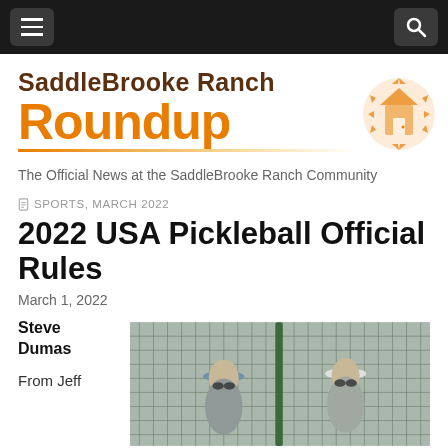SaddleBrooke Ranch Roundup navigation bar
SaddleBrooke Ranch Roundup
The Official News at the SaddleBrooke Ranch Community
SPORTS, MARCH 2022
2022 USA Pickleball Official Rules
March 1, 2022
Steve Dumas
From Jeff
[Figure (photo): Two women wearing hats standing at a pickleball court with chain-link fence behind them]